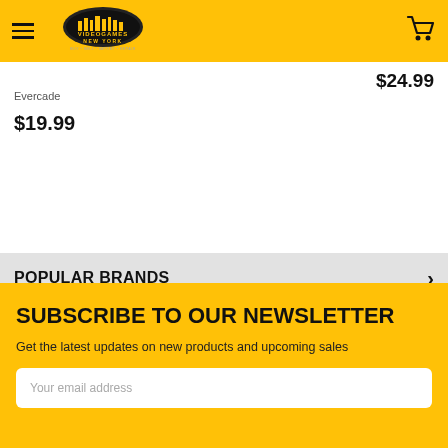VideoGames New York — Buy • Sell • Import • Repair
$24.99
Evercade
$19.99
POPULAR BRANDS
SUBSCRIBE TO OUR NEWSLETTER
Get the latest updates on new products and upcoming sales
Your email address